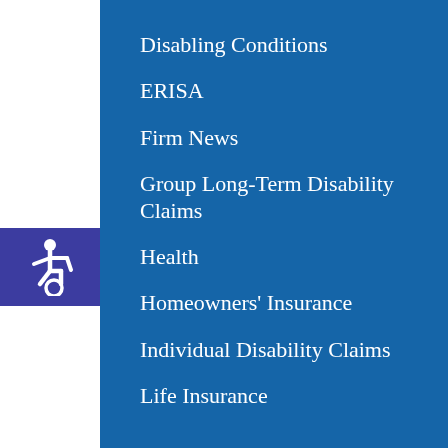Disabling Conditions
ERISA
Firm News
Group Long-Term Disability Claims
Health
Homeowners' Insurance
Individual Disability Claims
Life Insurance
[Figure (illustration): Wheelchair accessibility icon in white on dark blue/purple square background, positioned on the left sidebar]